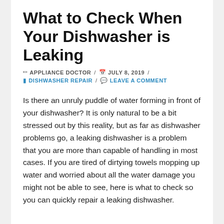What to Check When Your Dishwasher is Leaking
✏ APPLIANCE DOCTOR / 📅 JULY 8, 2019 / DISHWASHER REPAIR / 💬 LEAVE A COMMENT
Is there an unruly puddle of water forming in front of your dishwasher? It is only natural to be a bit stressed out by this reality, but as far as dishwasher problems go, a leaking dishwasher is a problem that you are more than capable of handling in most cases. If you are tired of dirtying towels mopping up water and worried about all the water damage you might not be able to see, here is what to check so you can quickly repair a leaking dishwasher.
Water Level